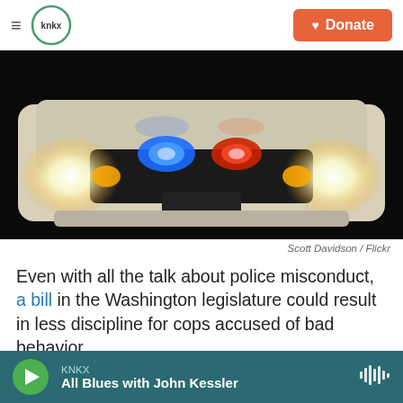KNKX | Donate
[Figure (photo): Front view of a police car at night with blue and red flashing lights in the grille, headlights on, dark background.]
Scott Davidson / Flickr
Even with all the talk about police misconduct, a bill in the Washington legislature could result in less discipline for cops accused of bad behavior.
When a cop is put on the stand as a witness for the
KNKX — All Blues with John Kessler